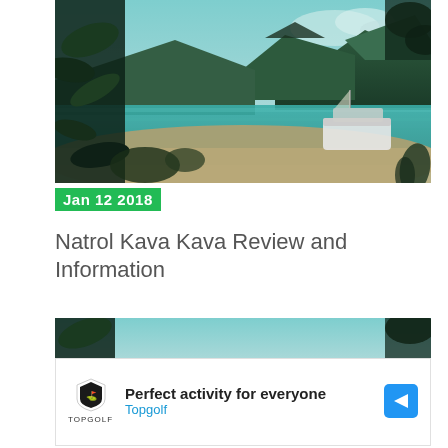[Figure (photo): Tropical beach scene with turquoise water, mountains in background, a boat moored near the sandy shore, framed by tropical foliage. Teal/cyan color toning.]
Jan 12 2018
Natrol Kava Kava Review and Information
[Figure (photo): Cropped top portion of the same tropical beach photo, showing foliage and water with teal color toning.]
[Figure (other): Advertisement: Topgolf. 'Perfect activity for everyone'. Shows Topgolf shield logo and a blue directional arrow button.]